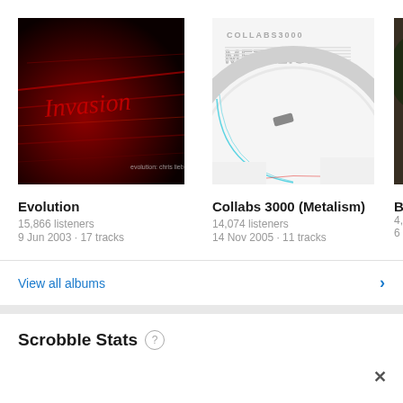[Figure (photo): Album art for Evolution by Chris Liebing – dark red abstract cover with cursive text]
[Figure (photo): Album art for Collabs 3000 (Metalism) – white/grey geometric circular design with teal lines]
[Figure (photo): Partial album art – dark third album partially visible]
Evolution
15,866 listeners
9 Jun 2003 · 17 tracks
Collabs 3000 (Metalism)
14,074 listeners
14 Nov 2005 · 11 tracks
Burn
4,613
6 Sep
View all albums
Scrobble Stats